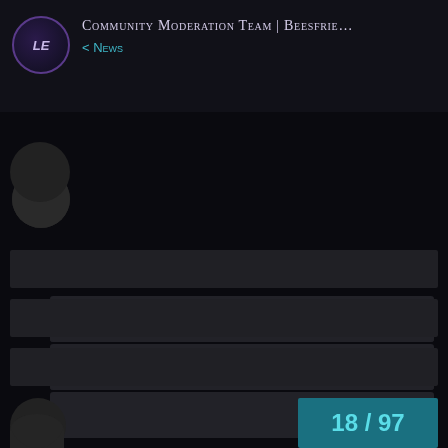Community Moderation Team | Beesfrie... < News
[Figure (screenshot): Dark-themed community forum page showing redacted/blurred user posts with avatar circles and content bars. Pagination shows 18/97.]
18 / 97